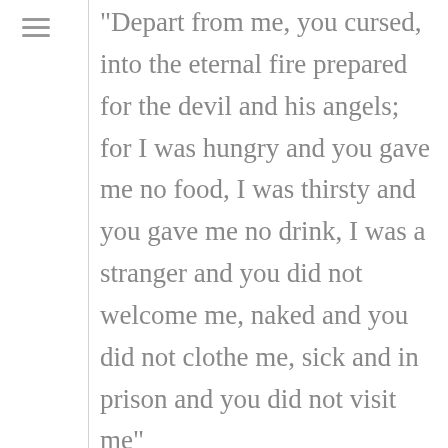“Depart from me, you cursed, into the eternal fire prepared for the devil and his angels; for I was hungry and you gave me no food, I was thirsty and you gave me no drink, I was a stranger and you did not welcome me, naked and you did not clothe me, sick and in prison and you did not visit me”

How clear does Jesus have to
[Figure (other): Hamburger menu icon (three horizontal lines) in the left sidebar]